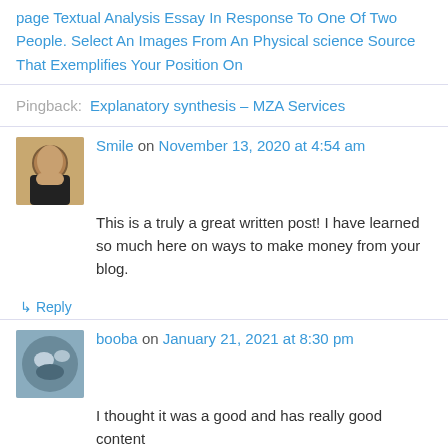page Textual Analysis Essay In Response To One Of Two People. Select An Images From An Physical science Source That Exemplifies Your Position On
Pingback: Explanatory synthesis – MZA Services
Smile on November 13, 2020 at 4:54 am
This is a truly a great written post! I have learned so much here on ways to make money from your blog.
↳ Reply
booba on January 21, 2021 at 8:30 pm
I thought it was a good and has really good content
booba recently posted..9 Best Affiliate Programs for 2021
↳ Reply
Teresa is interested in your profile! More info: